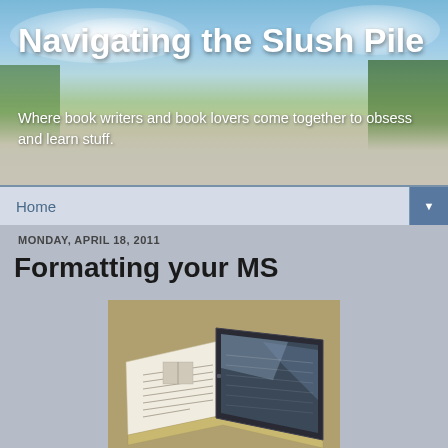Navigating the Slush Pile
Where book writers and book lovers come together to obsess and learn stuff.
Home
MONDAY, APRIL 18, 2011
Formatting your MS
[Figure (photo): An open book with an iPad or e-reader tablet resting on top of it, photographed on a surface.]
In today's world of e-readers, getting the format on your manuscript is super important. How important? So important